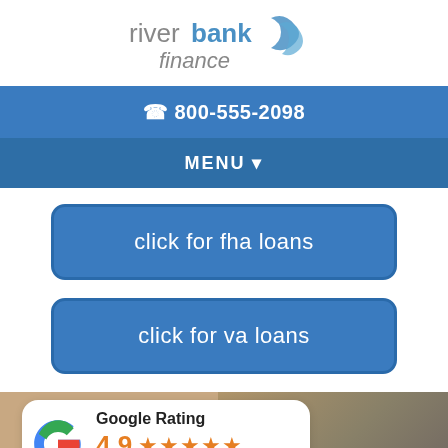[Figure (logo): Riverbank Finance logo with blue wave graphic and two-tone text]
☎ 800-555-2098
MENU ▼
click for fha loans
click for va loans
[Figure (infographic): Google Rating card showing 4.9 stars based on 661 Reviews, overlaid on photo of people moving with boxes. FHA text visible at bottom.]